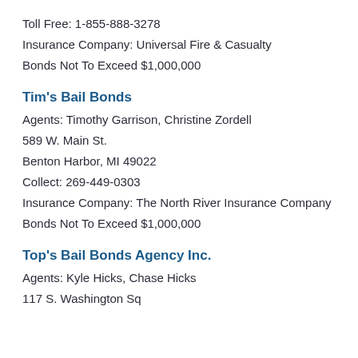Toll Free: 1-855-888-3278
Insurance Company: Universal Fire & Casualty
Bonds Not To Exceed $1,000,000
Tim's Bail Bonds
Agents: Timothy Garrison, Christine Zordell
589 W. Main St.
Benton Harbor, MI 49022
Collect: 269-449-0303
Insurance Company: The North River Insurance Company
Bonds Not To Exceed $1,000,000
Top's Bail Bonds Agency Inc.
Agents: Kyle Hicks, Chase Hicks
117 S. Washington Sq